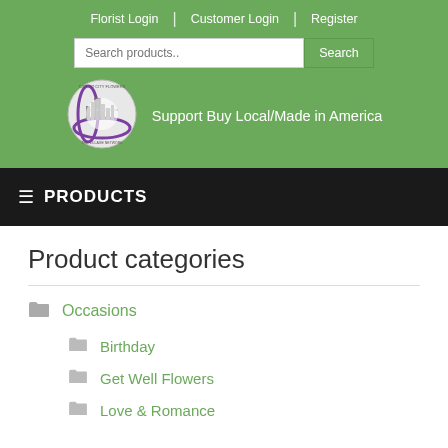Florist Login | Customer Login | Register
[Figure (logo): City to city flowers logo - circular emblem with bridge/cityscape and purple swoosh]
Support Buy Local/Made in America
PRODUCTS
Product categories
Occasions
Birthday
Get Well Flowers
Love & Romance